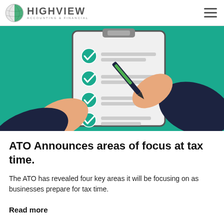HIGHVIEW ACCOUNTING & FINANCIAL
[Figure (illustration): Illustration of two hands in business suits holding a clipboard with a checklist. Four green checkmarks are visible on the checklist. One hand holds a pen writing on the list. Background is teal/green.]
ATO Announces areas of focus at tax time.
The ATO has revealed four key areas it will be focusing on as businesses prepare for tax time.
Read more